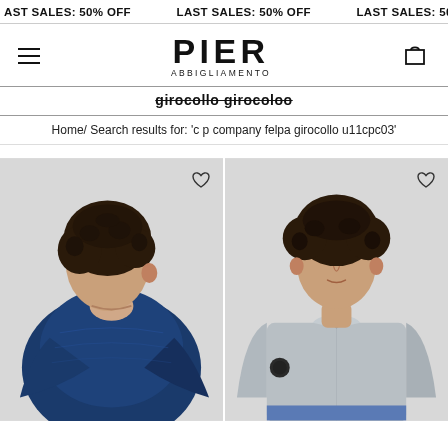LAST SALES: 50% OFF   LAST SALES: 50% OFF   LAST SALES: 50% OFF   LAST SALES
[Figure (logo): Pier Abbigliamento logo with hamburger menu and cart icon]
girocollo girocoloo (strikethrough heading)
Home/ Search results for: 'c p company felpa girocollo u11cpc03'
[Figure (photo): Young man with curly hair wearing a dark navy blue sweatshirt, shown from behind/side profile against light grey background]
[Figure (photo): Young man with curly hair wearing a light grey crew-neck sweatshirt with small logo patch on left sleeve, facing front against light grey background]